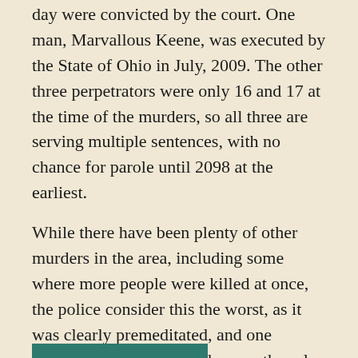day were convicted by the court. One man, Marvallous Keene, was executed by the State of Ohio in July, 2009. The other three perpetrators were only 16 and 17 at the time of the murders, so all three are serving multiple sentences, with no chance for parole until 2098 at the earliest.
While there have been plenty of other murders in the area, including some where more people were killed at once, the police consider this the worst, as it was clearly premeditated, and one murder was committed, then another plan was executed, and another. And the worst thing was, not only did it happen over Christmas, it was done for kicks.
Here is a reprint of a Dayton Daily News article that tells the whole story, which I used extensively in my research.